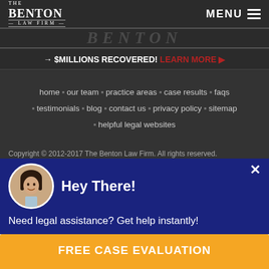THE BENTON LAW FIRM — MENU
[Figure (logo): Benton watermark text banner in dark background]
→ $MILLIONS RECOVERED! LEARN MORE ▶
home • our team • practice areas • case results • faqs
• testimonials • blog • contact us • privacy policy • sitemap
• helpful legal websites
Copyright © 2012-2017 The Benton Law Firm. All rights reserved. The information on this website is not intended nor should it be
Hey There!
Need legal assistance? Get help instantly!
FREE CASE EVALUATION